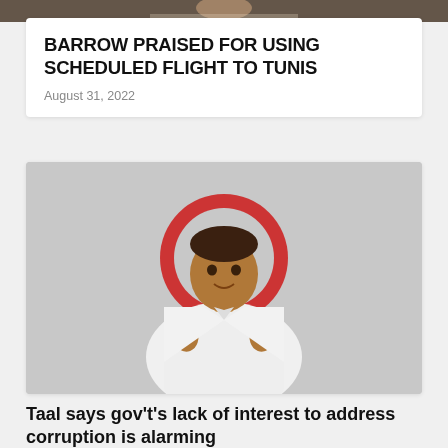[Figure (photo): Top strip image showing partial view of a person, cropped]
BARROW PRAISED FOR USING SCHEDULED FLIGHT TO TUNIS
August 31, 2022
[Figure (photo): Man in white suit with hands raised in a talking gesture, seated in front of a grey background with a red circular logo partially visible]
Taal says gov't's lack of interest to address corruption is alarming